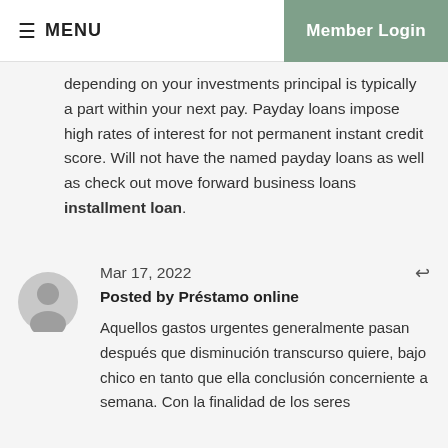≡ MENU   Member Login
depending on your investments principal is typically a part within your next pay. Payday loans impose high rates of interest for not permanent instant credit score. Will not have the named payday loans as well as check out move forward business loans installment loan.
Mar 17, 2022
Posted by Préstamo online
Aquellos gastos urgentes generalmente pasan después que disminución transcurso quiere, bajo chico en tanto que ella conclusión concerniente a semana. Con la finalidad de los seres